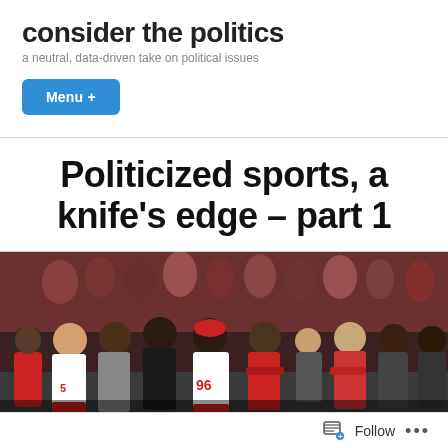consider the politics
a neutral, data-driven take on political issues
Menu +
Politicized sports, a knife's edge – part 1
[Figure (photo): Group of NFL players in San Francisco 49ers white and red uniforms standing on a sideline, with stadium crowd visible in background. Players wearing jerseys including #56 and #96.]
Follow ...